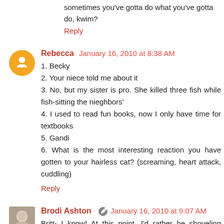sometimes you've gotta do what you've gotta do, kwim?
Reply
Rebecca  January 16, 2010 at 8:38 AM
1. Becky
2. Your niece told me about it
3. No, but my sister is pro. She killed three fish while fish-sitting the nieghbors'
4. I used to read fun books, now I only have time for textbooks
5. Gandi
6. What is the most interesting reaction you have gotten to your hairless cat? (screaming, heart attack, cuddling)
Reply
Brodi Ashton  January 16, 2010 at 9:07 AM
Britt- I know! At this point, I'd rather be shoveling poop.
Anonymous- a.k.a. Jillybean- So good to hear from you!